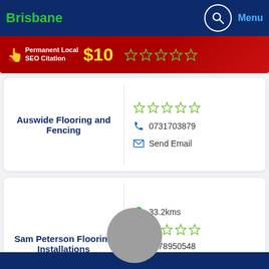Brisbane | Menu
[Figure (infographic): Red banner with hand pointer icon, text 'Permanent Local SEO Citation $10' and five empty stars]
Auswide Flooring and Fencing
0731703879
Send Email
33.2kms
Sam Peterson Flooring Installations
0478950548
Send Email
Message